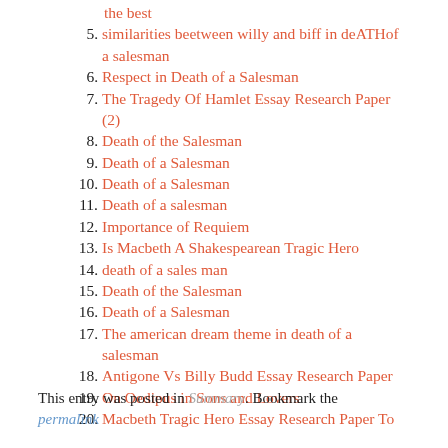5. similarities beetween willy and biff in deATHof a salesman
6. Respect in Death of a Salesman
7. The Tragedy Of Hamlet Essay Research Paper (2)
8. Death of the Salesman
9. Death of a Salesman
10. Death of a Salesman
11. Death of a salesman
12. Importance of Requiem
13. Is Macbeth A Shakespearean Tragic Hero
14. death of a sales man
15. Death of the Salesman
16. Death of a Salesman
17. The american dream theme in death of a salesman
18. Antigone Vs Billy Budd Essay Research Paper
19. On Oedipus in Sons and Lovers
20. Macbeth Tragic Hero Essay Research Paper To
This entry was posted in Summary. Bookmark the permalink